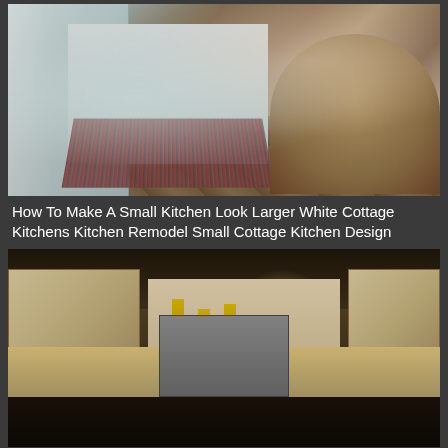[Figure (photo): White cottage kitchen with light blue/gray cabinets, herringbone wood floor, colorful area rug, and round dining table with chairs on the right]
How To Make A Small Kitchen Look Larger White Cottage Kitchens Kitchen Remodel Small Cottage Kitchen Design
[Figure (photo): Kitchen with cream/off-white cabinets, granite countertops, stainless steel appliances, recessed lighting, pendant lights over island, warm yellow walls]